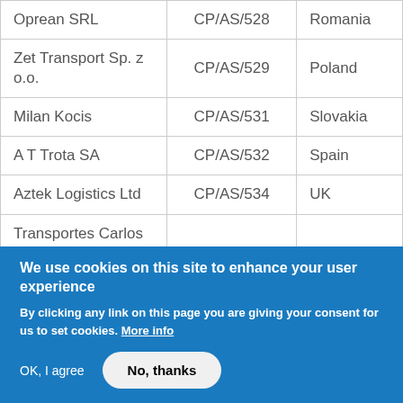| Oprean SRL | CP/AS/528 | Romania |
| Zet Transport Sp. z o.o. | CP/AS/529 | Poland |
| Milan Kocis | CP/AS/531 | Slovakia |
| A T Trota SA | CP/AS/532 | Spain |
| Aztek Logistics Ltd | CP/AS/534 | UK |
| Transportes Carlos |  |  |
We use cookies on this site to enhance your user experience
By clicking any link on this page you are giving your consent for us to set cookies. More info
OK, I agree   No, thanks